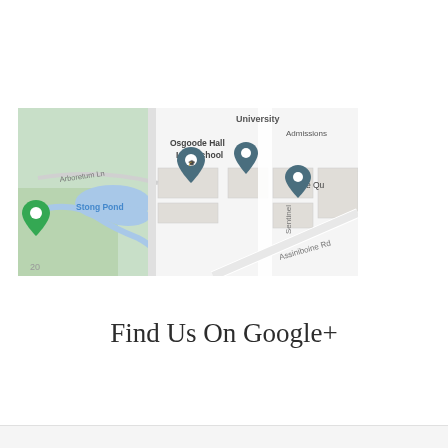[Figure (map): Google Maps view showing York University area including Osgoode Hall Law School, Stong Pond, Arboretum Ln, Admissions, The Qu(eens College), Sentinel road, and Assiniboine Rd, with map pins marking university buildings.]
Find Us On Google+